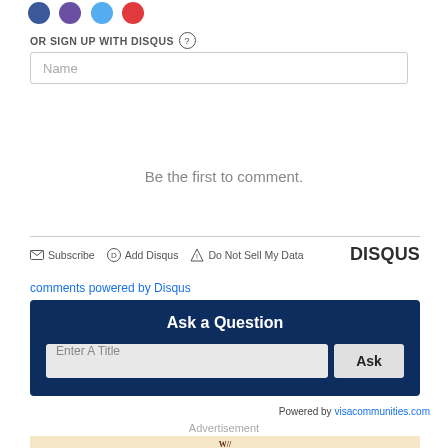[Figure (illustration): Four social login icons: Facebook (blue), Google+ (purple), Twitter (light blue), Email (red)]
OR SIGN UP WITH DISQUS ?
Name
Be the first to comment.
Subscribe  Add Disqus  Do Not Sell My Data  DISQUS
comments powered by Disqus
Ask a Question
Enter A Title  Ask
Powered by visacommunities.com
Advertisement